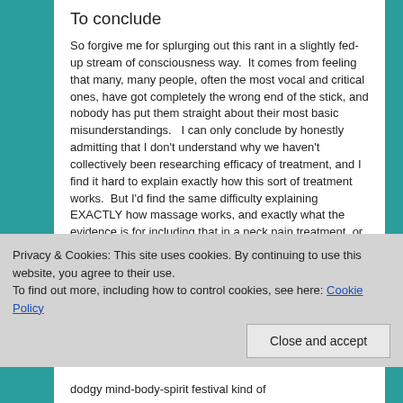To conclude
So forgive me for splurging out this rant in a slightly fed-up stream of consciousness way.  It comes from feeling that many, many people, often the most vocal and critical ones, have got completely the wrong end of the stick, and nobody has put them straight about their most basic misunderstandings.   I can only conclude by honestly admitting that I don't understand why we haven't collectively been researching efficacy of treatment, and I find it hard to explain exactly how this sort of treatment works.  But I'd find the same difficulty explaining EXACTLY how massage works, and exactly what the evidence is for including that in a neck pain treatment, or
dodgy mind-body-spirit festival kind of
Privacy & Cookies: This site uses cookies. By continuing to use this website, you agree to their use.
To find out more, including how to control cookies, see here: Cookie Policy